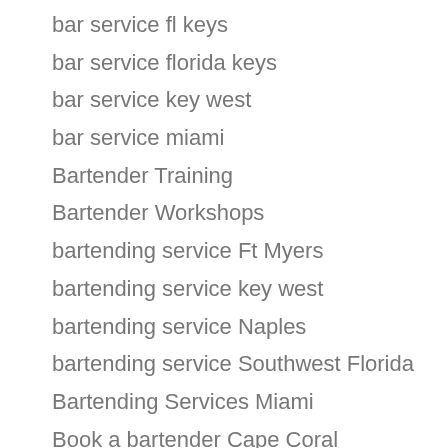bar service fl keys
bar service florida keys
bar service key west
bar service miami
Bartender Training
Bartender Workshops
bartending service Ft Myers
bartending service key west
bartending service Naples
bartending service Southwest Florida
Bartending Services Miami
Book a bartender Cape Coral
Book a bartender Florida Keys
Book a Bartender Ft Myers
Book a Bartender Miami